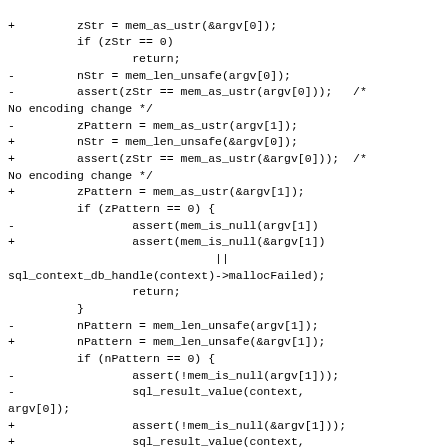Code diff showing changes to mem_as_ustr and related function calls replacing argv with &argv references